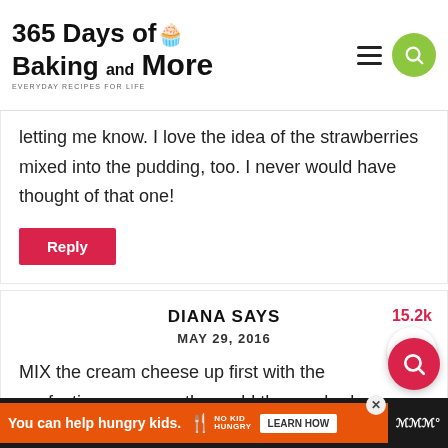365 Days of Baking and More — EVERYDAY RECIPES FOR LIFE
letting me know. I love the idea of the strawberries mixed into the pudding, too. I never would have thought of that one!
Reply
DIANA SAYS
MAY 29, 2016
MIX the cream cheese up first with the confectionary sugar, then add the mashed strawberries or you will have a lumpy bumby liquidy mess!!!!! Otherwise recipe went well!
Reply
You can help hungry kids. LEARN HOW